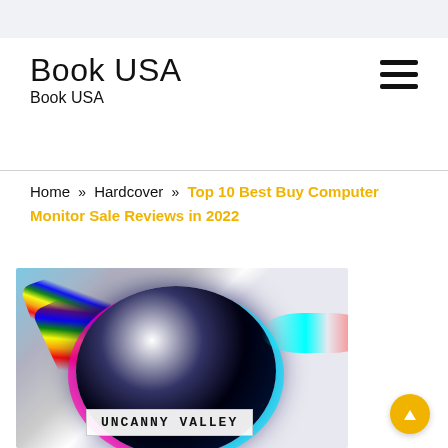Book USA
Book USA
Book USA
Home » Hardcover » Top 10 Best Buy Computer Monitor Sale Reviews in 2022
[Figure (photo): A glitchy chromatic aberration sphere/monitor image with rainbow color fringing and the text label 'UNCANNY VALLEY' in a white box at the bottom]